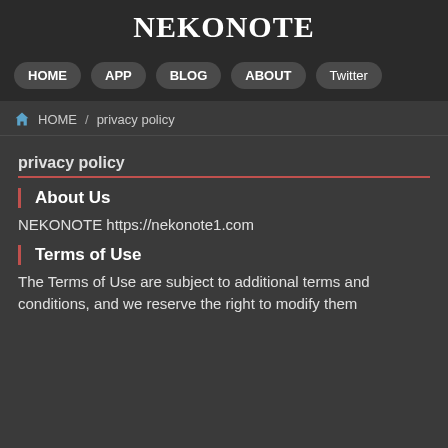NEKONOTE
HOME  APP  BLOG  ABOUT  Twitter
HOME / privacy policy
privacy policy
About Us
NEKONOTE https://nekonote1.com
Terms of Use
The Terms of Use are subject to additional terms and conditions, and we reserve the right to modify them